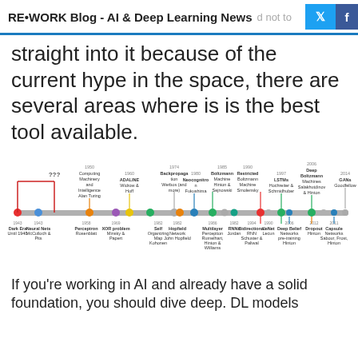RE•WORK Blog - AI & Deep Learning News
straight into it because of the current hype in the space, there are several areas where is is the best tool available.
[Figure (infographic): Timeline of neural network and AI milestones from 1943 to 2014, showing events like Dark Era, Neural Nets, Perceptron, ADALINE, XOR problem, Neocognitron, Backpropagation, Self Organizing Map, Hopfield Network, Boltzmann Machine, Multilayer Perceptron, RNNs, Restricted Boltzmann Machine, Bidirectional RNN, LeNet, LSTMs, Deep Belief Networks pre-training, Deep Boltzmann Machines, Dropout, Capsule Networks, GANs.]
If you're working in AI and already have a solid foundation, you should dive deep. DL models